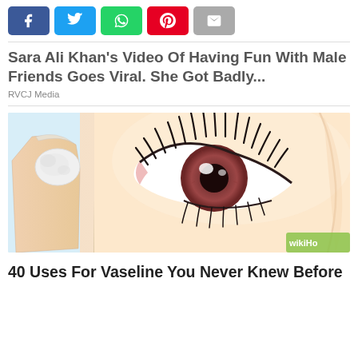[Figure (infographic): Social media share buttons: Facebook (blue), Twitter (light blue), WhatsApp (green), Pinterest (red), Email (gray)]
Sara Ali Khan's Video Of Having Fun With Male Friends Goes Viral. She Got Badly...
RVCJ Media
[Figure (illustration): Close-up illustration of a person's eye with long eyelashes and a finger holding a cotton pad, related to Vaseline uses. WikiHow watermark visible.]
40 Uses For Vaseline You Never Knew Before